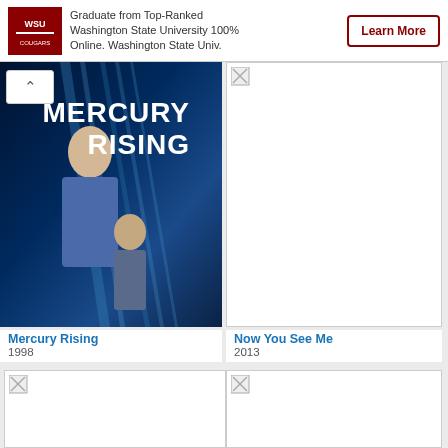[Figure (illustration): WSU logo — Washington State University crimson logo badge]
Graduate from Top-Ranked Washington State University 100% Online. Washington State Univ.
Learn More
[Figure (photo): Mercury Rising movie poster — man and child in action pose against blue background with bold white title text MERCURY RISING]
Mercury Rising
1998
[Figure (photo): Now You See Me movie poster — broken/loading image placeholder]
Now You See Me
2013
[Figure (photo): Bottom left movie poster — broken/loading image placeholder]
[Figure (photo): Bottom right movie poster — broken/loading image placeholder]